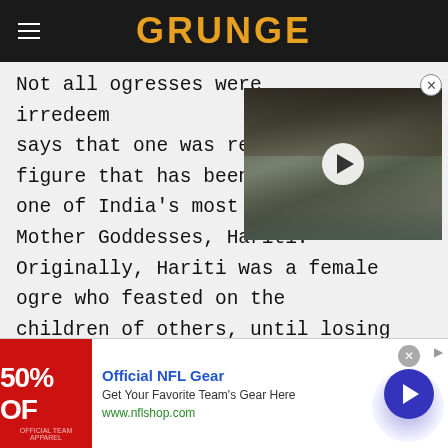GRUNGE
[Figure (photo): Video thumbnail showing a young person with curly hair and a play button overlay]
Not all ogresses were irredeemable. Mythology says that one was reformed into a figure that has been one of India's most important Mother Goddesses, Hariti. Originally, Hariti was a female ogre who feasted on the children of others, until losing her own. With the help of Gautama Buddha, she came to realize that the pain she felt was the same pain she had been inflicting on other
[Figure (screenshot): Advertisement banner: Official NFL Gear - Get Your Favorite Team's Gear Here - www.nflshop.com - 50% OFF]